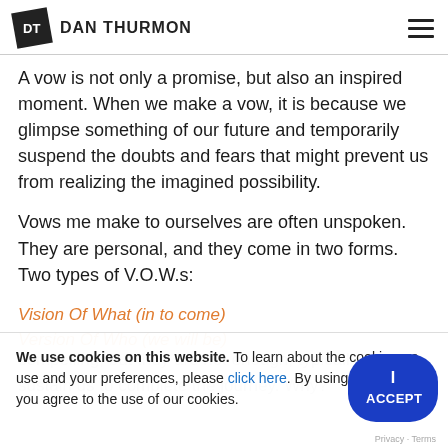DT DAN THURMON
A vow is not only a promise, but also an inspired moment. When we make a vow, it is because we glimpse something of our future and temporarily suspend the doubts and fears that might prevent us from realizing the imagined possibility.
Vows me make to ourselves are often unspoken. They are personal, and they come in two forms. Two types of V.O.W.s:
Vision Of What (in to come)
Version Of Who (we will be)
We use cookies on this website. To learn about the cookies we use and your preferences, please click here. By using our website, you agree to the use of our cookies.
compelling, but they are not enough, typicall
sustain us to complete the journey. Why?